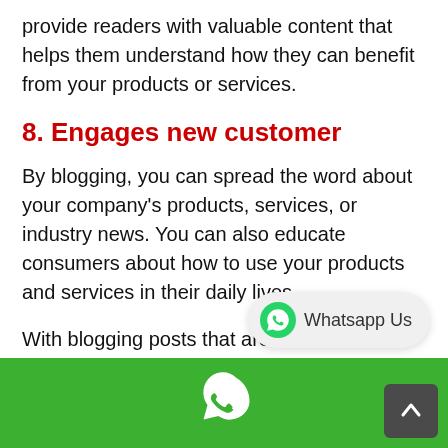provide readers with valuable content that helps them understand how they can benefit from your products or services.
8. Engages new customer
By blogging, you can spread the word about your company's products, services, or industry news. You can also educate consumers about how to use your products and services in their daily lives.
With blogging posts that are informative and helpful for your readership base, you will be able to engage new customers who haven't yet heard of what it is that you do.
[Figure (logo): WhatsApp Us button with WhatsApp logo icon]
Green footer bar with phone icon and scroll-to-top button